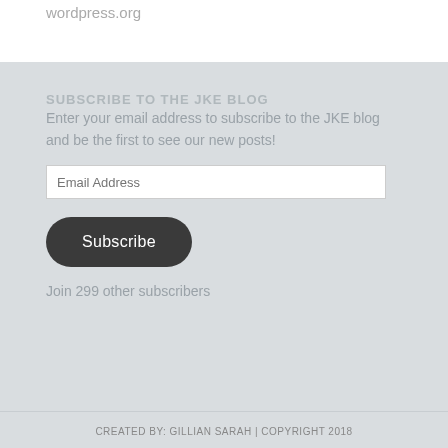wordpress.org
SUBSCRIBE TO THE JKE BLOG
Enter your email address to subscribe to the JKE blog and be the first to see our new posts!
Email Address
Subscribe
Join 299 other subscribers
CREATED BY: GILLIAN SARAH | COPYRIGHT 2018